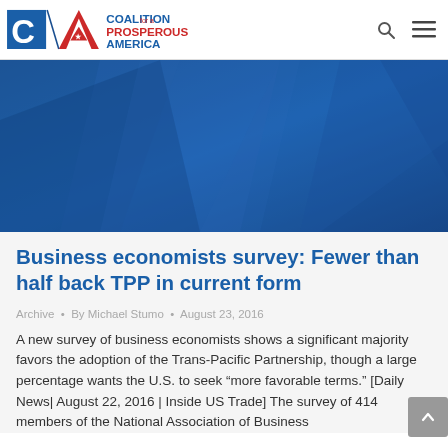Coalition for a Prosperous America
[Figure (photo): Blue geometric abstract hero banner image for article header]
Business economists survey: Fewer than half back TPP in current form
Archive • By Michael Stumo • August 23, 2016
A new survey of business economists shows a significant majority favors the adoption of the Trans-Pacific Partnership, though a large percentage wants the U.S. to seek “more favorable terms.” [Daily News| August 22, 2016 | Inside US Trade] The survey of 414 members of the National Association of Business